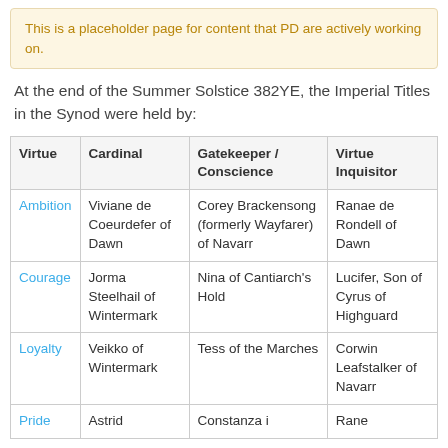This is a placeholder page for content that PD are actively working on.
At the end of the Summer Solstice 382YE, the Imperial Titles in the Synod were held by:
| Virtue | Cardinal | Gatekeeper / Conscience | Virtue Inquisitor |
| --- | --- | --- | --- |
| Ambition | Viviane de Coeurdefer of Dawn | Corey Brackensong (formerly Wayfarer) of Navarr | Ranae de Rondell of Dawn |
| Courage | Jorma Steelhail of Wintermark | Nina of Cantiarch's Hold | Lucifer, Son of Cyrus of Highguard |
| Loyalty | Veikko of Wintermark | Tess of the Marches | Corwin Leafstalker of Navarr |
| Pride | Astrid | Constanza i | Rane |